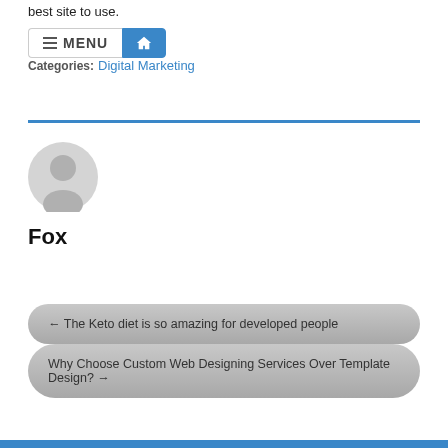best site to use.
Categories: Digital Marketing
[Figure (illustration): Author avatar placeholder icon — grey circle with silhouette of a person]
Fox
← The Keto diet is so amazing for developed people
Why Choose Custom Web Designing Services Over Template Design? →